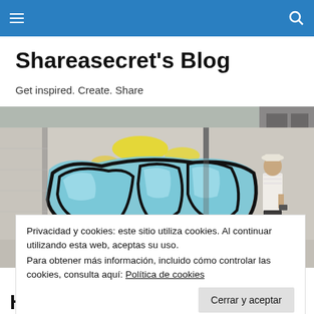Navigation bar with menu and search icons
Shareasecret's Blog
Get inspired. Create. Share
[Figure (photo): Woman standing in front of a white brick wall covered in blue and black graffiti art with yellow accents. She is wearing a white top and shorts with a hat.]
Privacidad y cookies: este sitio utiliza cookies. Al continuar utilizando esta web, aceptas su uso.
Para obtener más información, incluido cómo controlar las cookies, consulta aquí: Política de cookies
Cerrar y aceptar
Hormida Javares: Crème de la